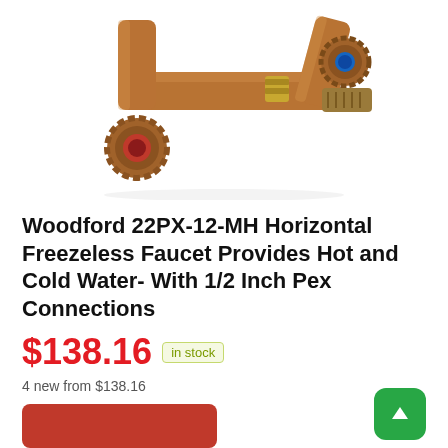[Figure (photo): Bronze/brass horizontal freezeless outdoor faucet with red and blue knobs and threaded connections, photographed on white background.]
Woodford 22PX-12-MH Horizontal Freezeless Faucet Provides Hot and Cold Water- With 1/2 Inch Pex Connections
$138.16  in stock
4 new from $138.16